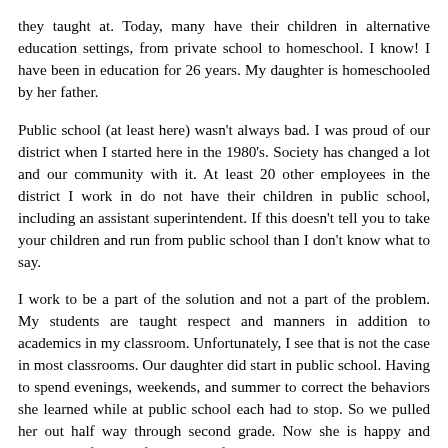they taught at. Today, many have their children in alternative education settings, from private school to homeschool. I know! I have been in education for 26 years. My daughter is homeschooled by her father.
Public school (at least here) wasn't always bad. I was proud of our district when I started here in the 1980's. Society has changed a lot and our community with it. At least 20 other employees in the district I work in do not have their children in public school, including an assistant superintendent. If this doesn't tell you to take your children and run from public school than I don't know what to say.
I work to be a part of the solution and not a part of the problem. My students are taught respect and manners in addition to academics in my classroom. Unfortunately, I see that is not the case in most classrooms. Our daughter did start in public school. Having to spend evenings, weekends, and summer to correct the behaviors she learned while at public school each had to stop. So we pulled her out half way through second grade. Now she is happy and learning. After her first week of homeschooling I asked her she missed public school, here is her comment, "No, it made me crazy." I forgot to tell you, she is high-